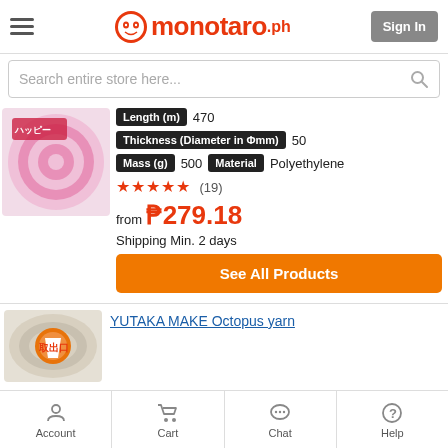monotaro.ph — Sign In
Search entire store here...
Length (m)  470
Thickness (Diameter in Φmm)  50
Mass (g)  500   Material  Polyethylene
★★★★★ (19)
from ₱279.18
Shipping Min. 2 days
See All Products
YUTAKA MAKE Octopus yarn
Account  Cart  Chat  Help